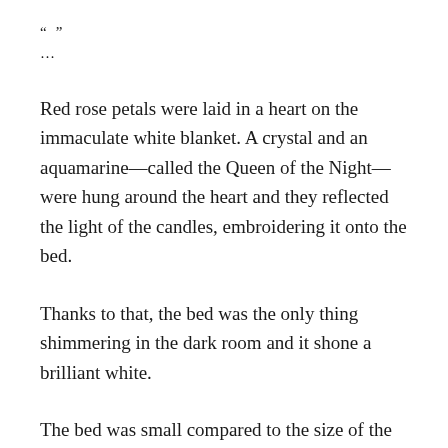“…”
Red rose petals were laid in a heart on the immaculate white blanket. A crystal and an aquamarine—called the Queen of the Night—were hung around the heart and they reflected the light of the candles, embroidering it onto the bed.
Thanks to that, the bed was the only thing shimmering in the dark room and it shone a brilliant white.
The bed was small compared to the size of the room, so it looked more intimate. Forget comparison, the bed was really small.
There might be quite some space left if Aristine lay down